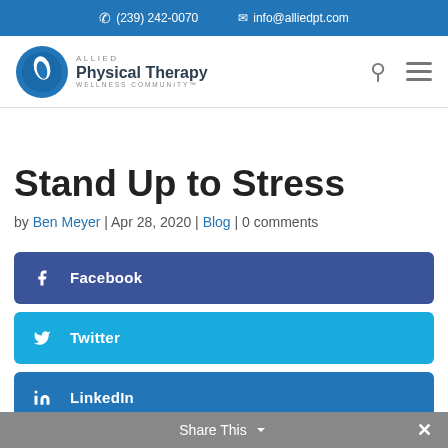(239) 242-0070   info@alliedpt.com
[Figure (logo): Allied Physical Therapy Wellness Community logo with blue circle icon]
Stand Up to Stress
by Ben Meyer | Apr 28, 2020 | Blog | 0 comments
[Figure (infographic): Social sharing buttons: Facebook, Twitter, LinkedIn]
Share This